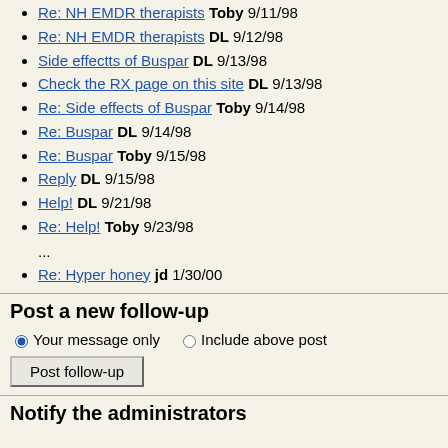Re: NH EMDR therapists Toby 9/11/98
Re: NH EMDR therapists DL 9/12/98
Side effectts of Buspar DL 9/13/98
Check the RX page on this site DL 9/13/98
Re: Side effects of Buspar Toby 9/14/98
Re: Buspar DL 9/14/98
Re: Buspar Toby 9/15/98
Reply DL 9/15/98
Help! DL 9/21/98
Re: Help! Toby 9/23/98
...
Re: Hyper honey jd 1/30/00
Post a new follow-up
Your message only   Include above post
Post follow-up
Notify the administrators